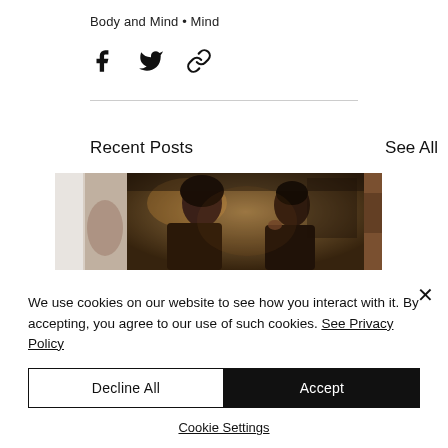Body and Mind • Mind
[Figure (illustration): Social share icons: Facebook, Twitter, and link/chain icon]
[Figure (photo): A horizontal row of cropped photos showing two women in a warm, dimly lit cafe setting; one woman appears to be tasting food.]
Recent Posts
See All
We use cookies on our website to see how you interact with it. By accepting, you agree to our use of such cookies. See Privacy Policy
Decline All
Accept
Cookie Settings